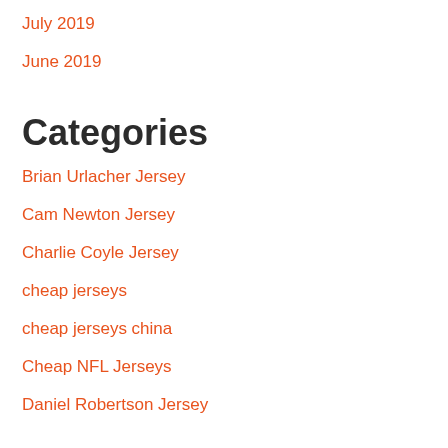July 2019
June 2019
Categories
Brian Urlacher Jersey
Cam Newton Jersey
Charlie Coyle Jersey
cheap jerseys
cheap jerseys china
Cheap NFL Jerseys
Daniel Robertson Jersey
Fred Biletnikoff Jersey
jerseys cheap
Kevin King Jersey
Marvin Jones Jr Jersey